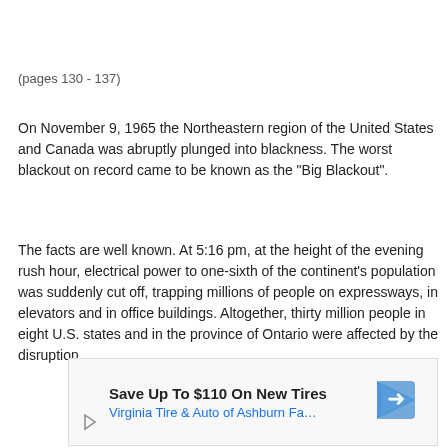(pages 130 - 137)
On November 9, 1965 the Northeastern region of the United States and Canada was abruptly plunged into blackness. The worst blackout on record came to be known as the "Big Blackout".
The facts are well known. At 5:16 pm, at the height of the evening rush hour, electrical power to one-sixth of the continent's population was suddenly cut off, trapping millions of people on expressways, in elevators and in office buildings. Altogether, thirty million people in eight U.S. states and in the province of Ontario were affected by the disruption
[Figure (other): Advertisement banner: Save Up To $110 On New Tires - Virginia Tire & Auto of Ashburn Fa...]